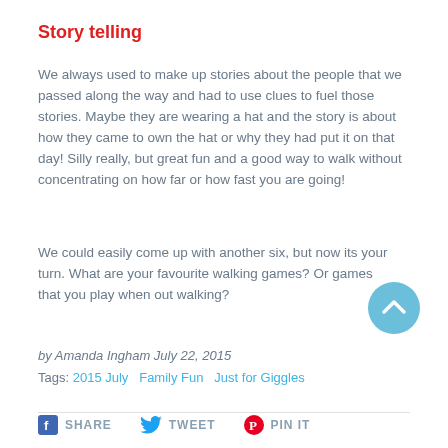Story telling
We always used to make up stories about the people that we passed along the way and had to use clues to fuel those stories. Maybe they are wearing a hat and the story is about how they came to own the hat or why they had put it on that day! Silly really, but great fun and a good way to walk without concentrating on how far or how fast you are going!
We could easily come up with another six, but now its your turn. What are your favourite walking games? Or games that you play when out walking?
by Amanda Ingham July 22, 2015
Tags: 2015 July   Family Fun   Just for Giggles
SHARE   TWEET   PIN IT